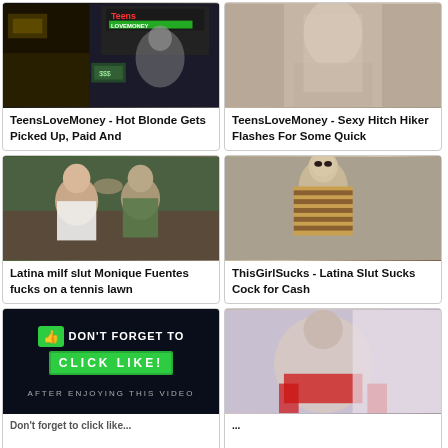[Figure (photo): Video thumbnail - TeensLoveMoney logo with money and female figure]
TeensLoveMoney - Hot Blonde Gets Picked Up, Paid And
[Figure (photo): Video thumbnail - close up of person's torso/body]
TeensLoveMoney - Sexy Hitch Hiker Flashes For Some Quick
[Figure (photo): Video thumbnail - couple kissing outdoors]
Latina milf slut Monique Fuentes fucks on a tennis lawn
[Figure (photo): Video thumbnail - woman in striped top]
ThisGirlSucks - Latina Slut Sucks Cock for Cash
[Figure (screenshot): Dark background with green CLICK LIKE button and text: DON'T FORGET TO CLICK LIKE! AFTER ENJOYING THIS VIDEO]
Don't forget to click like after enjoying this video
[Figure (photo): Video thumbnail - person with red clothing]